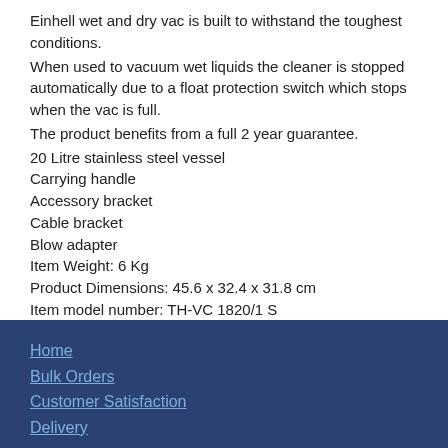Einhell wet and dry vac is built to withstand the toughest conditions.
When used to vacuum wet liquids the cleaner is stopped automatically due to a float protection switch which stops when the vac is full.
The product benefits from a full 2 year guarantee.
20 Litre stainless steel vessel
Carrying handle
Accessory bracket
Cable bracket
Blow adapter
Item Weight: 6 Kg
Product Dimensions: 45.6 x 32.4 x 31.8 cm
Item model number: TH-VC 1820/1 S
Power Source: Corded-electric
Voltage: 230 volts
Wattage: 1250 watts
Home
Bulk Orders
Customer Satisfaction
Delivery